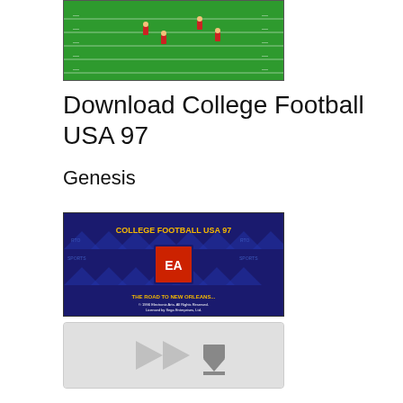[Figure (screenshot): Screenshot of College Football USA 97 gameplay on a green football field with player sprites in red uniforms]
Download College Football USA 97
Genesis
[Figure (screenshot): Title screen of College Football USA 97 game showing blue background with EA Sports logo and text reading 'COLLEGE FOOTBALL USA 97' and 'THE ROAD TO NEW ORLEANS']
[Figure (screenshot): Download button area showing a grey panel with play and download arrow icons]